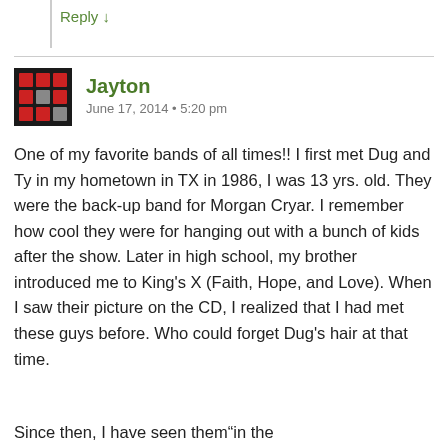Reply ↓
Jayton
June 17, 2014 • 5:20 pm
One of my favorite bands of all times!! I first met Dug and Ty in my hometown in TX in 1986, I was 13 yrs. old. They were the back-up band for Morgan Cryar. I remember how cool they were for hanging out with a bunch of kids after the show. Later in high school, my brother introduced me to King's X (Faith, Hope, and Love). When I saw their picture on the CD, I realized that I had met these guys before. Who could forget Dug's hair at that time.
Since then, I have seen them…